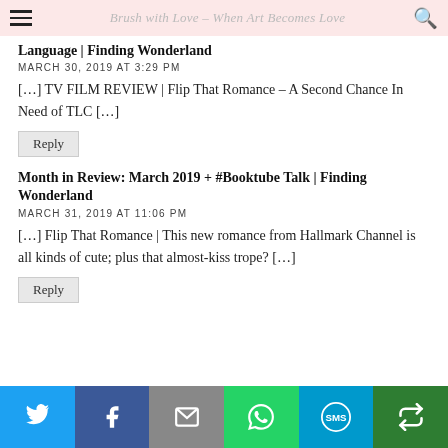Brush with Love – When Art Becomes Love
Language | Finding Wonderland
MARCH 30, 2019 AT 3:29 PM
[…] TV FILM REVIEW | Flip That Romance – A Second Chance In Need of TLC […]
Reply
Month in Review: March 2019 + #Booktube Talk | Finding Wonderland
MARCH 31, 2019 AT 11:06 PM
[…] Flip That Romance | This new romance from Hallmark Channel is all kinds of cute; plus that almost-kiss trope? […]
Reply